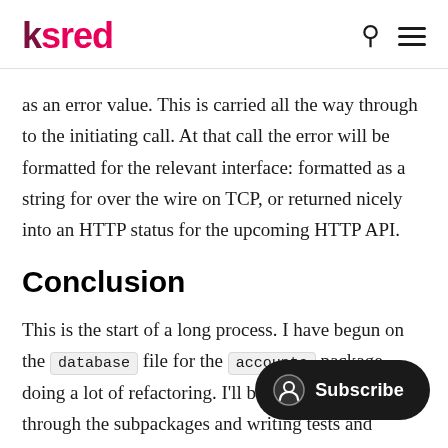ksred
as an error value. This is carried all the way through to the initiating call. At that call the error will be formatted for the relevant interface: formatted as a string for over the wire on TCP, or returned nicely into an HTTP status for the upcoming HTTP API.
Conclusion
This is the start of a long process. I have begun on the database file for the accounts package, doing a lot of refactoring. I'll be making my way through the subpackages and writing tests and plugins throughout.